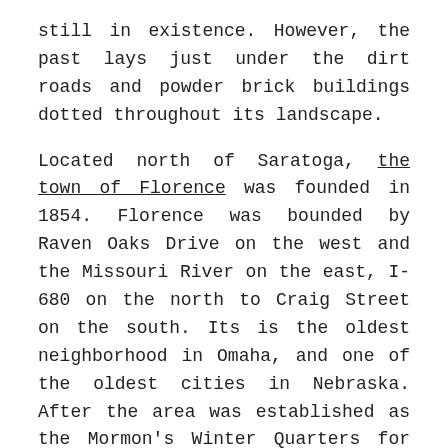still in existence. However, the past lays just under the dirt roads and powder brick buildings dotted throughout its landscape.
Located north of Saratoga, the town of Florence was founded in 1854. Florence was bounded by Raven Oaks Drive on the west and the Missouri River on the east, I-680 on the north to Craig Street on the south. Its is the oldest neighborhood in Omaha, and one of the oldest cities in Nebraska. After the area was established as the Mormon's Winter Quarters for their western excursion in 1846, it was re-established as a town by James Mitchell in 1854. In its early years, the town struggled to take the title of capital away from Omaha City, and even played host to an illegal Legislature held there one today. Today, it looks forward to a renaissance of business, social life and families. There are many historic buildings there, as well as other significant sites and stories to tell.